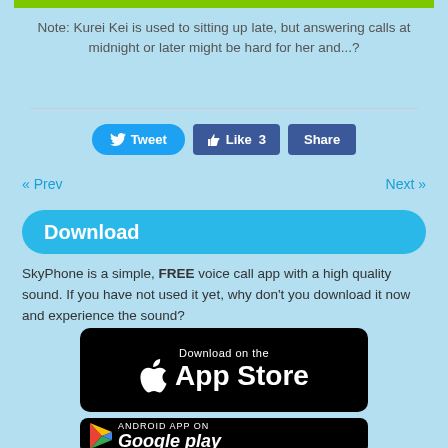Note: Kurei Kei is used to sitting up late, but answering calls at midnight or later might be hard for her and...?
[Figure (infographic): Social sharing buttons: Tweet (Twitter), Like 3 (Facebook), Share (Facebook)]
« Prev    Next »
Download
SkyPhone is a simple, FREE voice call app with a high quality sound. If you have not used it yet, why don't you download it now and experience the sound?
[Figure (other): Download on the App Store badge]
[Figure (other): Android App on Google Play badge]